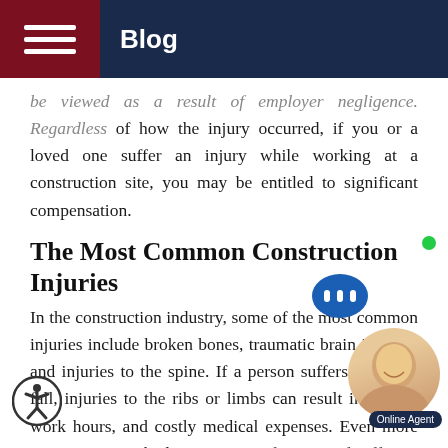Blog
be viewed as a result of employer negligence. Regardless of how the injury occurred, if you or a loved one suffer an injury while working at a construction site, you may be entitled to significant compensation.
The Most Common Construction Injuries
In the construction industry, some of the most common injuries include broken bones, traumatic brain injuries, and injuries to the spine. If a person suffers a serious fall, injuries to the ribs or limbs can result in loss of work hours, and costly medical expenses. Even more concerning are the long term ramifications of suffering brain trauma or injury to the spine. A serious concussion can leave a person unable to return to work for significant amounts of time. Tragically, some forms of brain trauma can result in